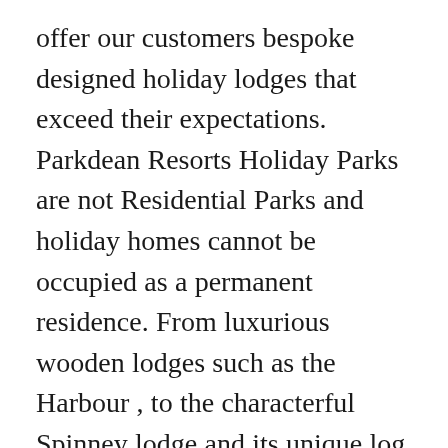offer our customers bespoke designed holiday lodges that exceed their expectations. Parkdean Resorts Holiday Parks are not Residential Parks and holiday homes cannot be occupied as a permanent residence. From luxurious wooden lodges such as the Harbour , to the characterful Spinney lodge and its unique log cabin feel, Wessex has a lodge ... 2 Bedroom Pine Lodge. Luxury Lodges For Sale . Click to find out more. Marketed by Parkmove - Lincolnshire. Very helpful and friendly people.good location for a quiet holiday", "Willerby Portland - SOLD . Luxury Lodges For Sale in Conwy, North Wales. The Rowan's interior creates a haven of relaxation with a